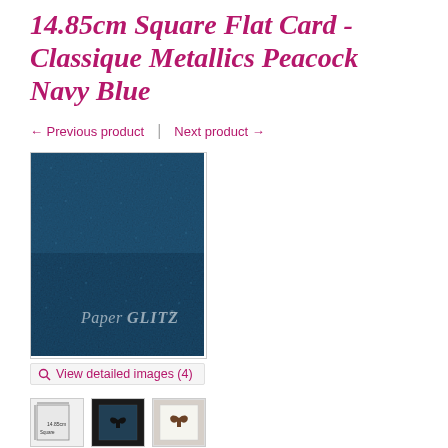14.85cm Square Flat Card - Classique Metallics Peacock Navy Blue
← Previous product  |  Next product →
[Figure (photo): Dark metallic peacock navy blue card stock with PaperGlitz logo watermark in the lower portion of the card.]
View detailed images (4)
[Figure (photo): Row of three product thumbnails showing the card dimensions diagram, and two styled invitation samples with ribbons.]